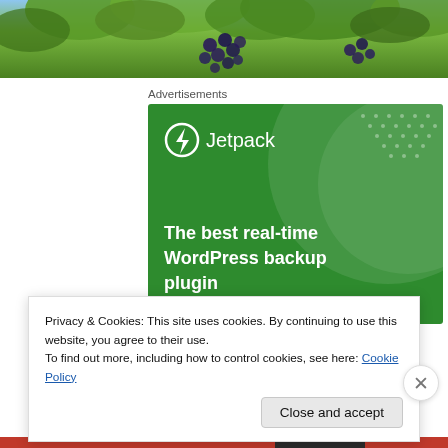[Figure (photo): Photo of grape clusters and green foliage at the top of the page]
Advertisements
[Figure (illustration): Jetpack advertisement banner with green background showing 'The best real-time WordPress backup plugin' with Jetpack logo]
Privacy & Cookies: This site uses cookies. By continuing to use this website, you agree to their use.
To find out more, including how to control cookies, see here: Cookie Policy
Close and accept